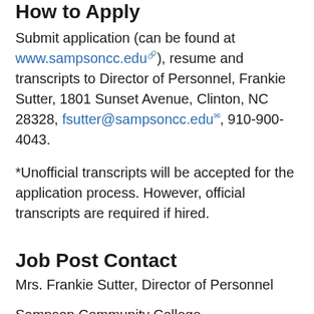How to Apply
Submit application (can be found at www.sampsoncc.edu), resume and transcripts to Director of Personnel, Frankie Sutter, 1801 Sunset Avenue, Clinton, NC  28328, fsutter@sampsoncc.edu, 910-900-4043.
*Unofficial transcripts will be accepted for the application process. However, official transcripts are required if hired.
Job Post Contact
Mrs. Frankie Sutter, Director of Personnel
Sampson Community College